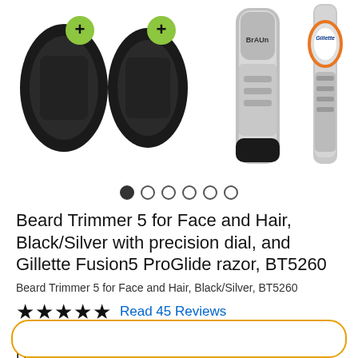[Figure (photo): Product images showing Braun Beard Trimmer BT5260 accessories (black trimmer heads with green plus signs), a silver Braun trimmer, and a Gillette razor handle on a white background.]
● ○ ○ ○ ○ ○
Beard Trimmer 5 for Face and Hair, Black/Silver with precision dial, and Gillette Fusion5 ProGlide razor, BT5260
Beard Trimmer 5 for Face and Hair, Black/Silver, BT5260
★★★★★  Read 45 Reviews
Trim, shave, and contour your unique beard style. Learn More